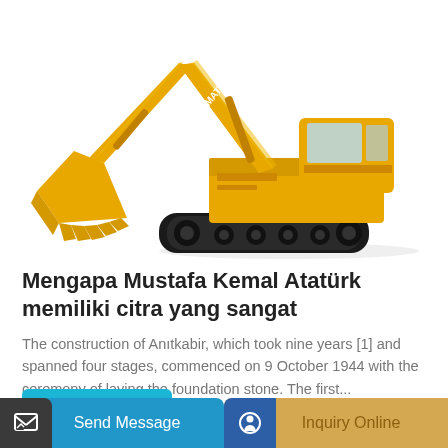[Figure (photo): Yellow Komatsu excavator/crawler excavator on white background, showing large bucket arm and tracked undercarriage.]
Mengapa Mustafa Kemal Atatürk memiliki citra yang sangat
The construction of Anıtkabir, which took nine years [1] and spanned four stages, commenced on 9 October 1944 with the ceremony of laying the foundation stone. The first...
Learn More
Send Message
Inquiry Online